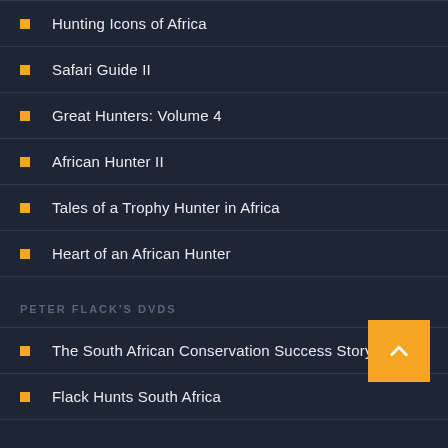Hunting Icons of Africa
Safari Guide II
Great Hunters: Volume 4
African Hunter II
Tales of a Trophy Hunter in Africa
Heart of an African Hunter
PETER FLACK'S DVDS
The South African Conservation Success Story
Flack Hunts South Africa